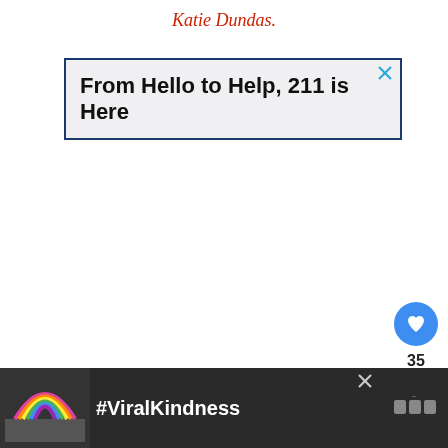Katie Dundas.
[Figure (screenshot): Advertisement banner: 'From Hello to Help, 211 is Here' with dark blue border and close button]
35
[Figure (screenshot): Bottom advertisement banner with rainbow image and #ViralKindness text on dark background]